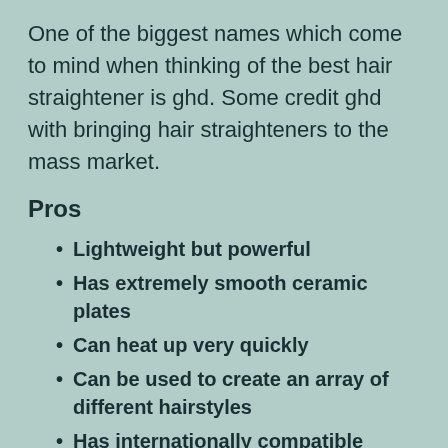One of the biggest names which come to mind when thinking of the best hair straightener is ghd. Some credit ghd with bringing hair straighteners to the mass market.
Pros
Lightweight but powerful
Has extremely smooth ceramic plates
Can heat up very quickly
Can be used to create an array of different hairstyles
Has internationally compatible voltage
Has automatic shut-off feature